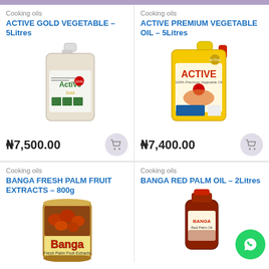Cooking oils
ACTIVE GOLD VEGETABLE – 5Litres
[Figure (photo): Clear plastic 5-litre jug of Active Gold Vegetable Oil]
₦7,500.00
Cooking oils
ACTIVE PREMIUM VEGETABLE OIL – 5Litres
[Figure (photo): Yellow plastic 5-litre jug of Active Premium Vegetable Oil]
₦7,400.00
Cooking oils
BANGA FRESH PALM FRUIT EXTRACTS – 800g
[Figure (photo): Can of Banga Fresh Palm Fruit Extracts 800g]
Cooking oils
BANGA RED PALM OIL – 2Litres
[Figure (photo): Dark red plastic bottle of Banga Red Palm Oil 2Litres]